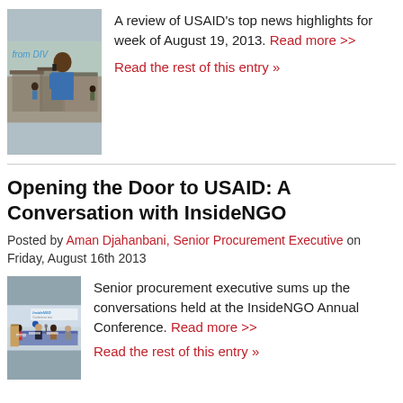[Figure (photo): Photo showing a man in a blue shirt holding a phone to his ear in a camp setting, with 'from DIV' text overlay]
A review of USAID's top news highlights for week of August 19, 2013. Read more >> Read the rest of this entry »
Opening the Door to USAID: A Conversation with InsideNGO
Posted by Aman Djahanbani, Senior Procurement Executive on Friday, August 16th 2013
[Figure (photo): Photo of a panel discussion at the InsideNGO Annual Conference, showing speakers at a table with an InsideNGO banner in the background]
Senior procurement executive sums up the conversations held at the InsideNGO Annual Conference. Read more >> Read the rest of this entry »